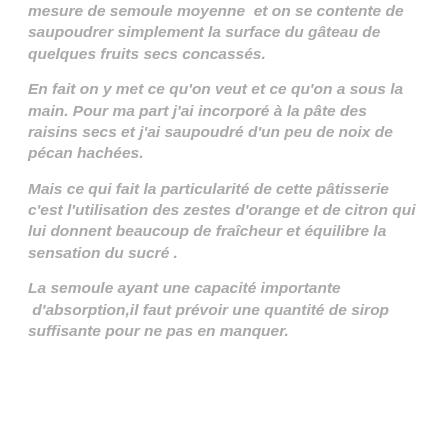mesure de semoule moyenne  et on se contente de saupoudrer simplement la surface du gâteau de quelques fruits secs concassés.
En fait on y met ce qu'on veut et ce qu'on a sous la main. Pour ma part j'ai incorporé à la pâte des raisins secs et j'ai saupoudré d'un peu de noix de pécan hachées.
Mais ce qui fait la particularité de cette pâtisserie c'est l'utilisation des zestes d'orange et de citron qui lui donnent beaucoup de fraîcheur et équilibre la sensation du sucré .
La semoule ayant une capacité importante  d'absorption,il faut prévoir une quantité de sirop suffisante pour ne pas en manquer.